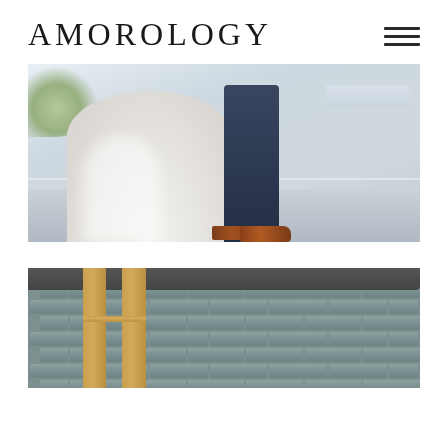AMOROLOGY
[Figure (photo): Close-up wedding photo showing lower half of couple standing together: bride in white flowing gown, groom in dark navy suit with brown leather loafers, standing on light concrete/pavement with soft natural light and foliage on left side, aircraft visible in background right.]
[Figure (photo): Partial photo of gray cinder block wall with wooden frame/arch structure visible in foreground, dark roof overhang at top edge, outdoor setting.]